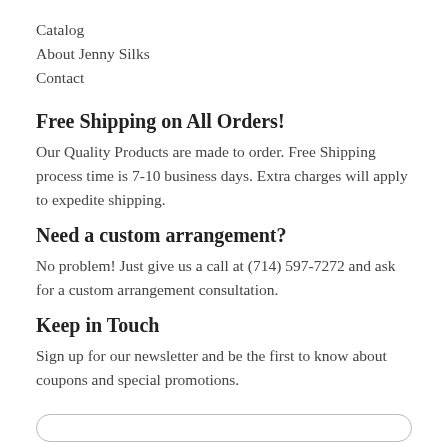Catalog
About Jenny Silks
Contact
Free Shipping on All Orders!
Our Quality Products are made to order. Free Shipping process time is 7-10 business days. Extra charges will apply to expedite shipping.
Need a custom arrangement?
No problem! Just give us a call at (714) 597-7272 and ask for a custom arrangement consultation.
Keep in Touch
Sign up for our newsletter and be the first to know about coupons and special promotions.